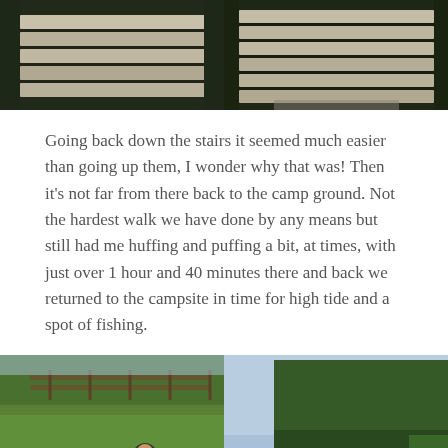[Figure (photo): Two side-by-side photos of wooden stairs/steps going down, viewed from above, surrounded by dark green foliage]
Going back down the stairs it seemed much easier than going up them, I wonder why that was! Then it's not far from there back to the camp ground. Not the hardest walk we have done by any means but still had me huffing and puffing a bit, at times, with just over 1 hour and 40 minutes there and back we returned to the campsite in time for high tide and a spot of fishing.
[Figure (photo): Left: Two people crouching on grass working on an inflatable boat/dinghy with yellow items visible. Right: A rocky beach/shoreline with trees in background and a person standing near the water.]